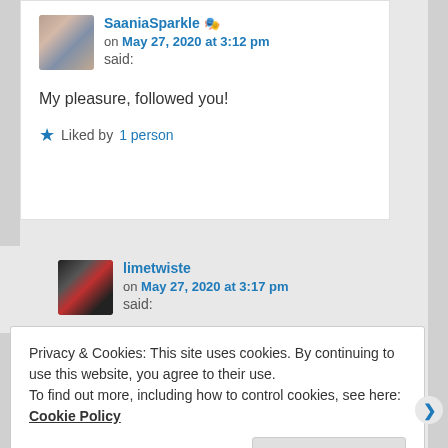SaaniaSparkle 🎭 on May 27, 2020 at 3:12 pm said:
My pleasure, followed you!
★ Liked by 1 person
limetwiste on May 27, 2020 at 3:17 pm said:
Privacy & Cookies: This site uses cookies. By continuing to use this website, you agree to their use.
To find out more, including how to control cookies, see here: Cookie Policy
Close and accept